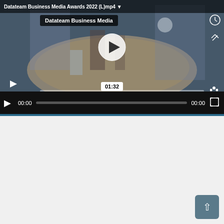[Figure (screenshot): Video player showing a dining table scene with a play button overlay. Channel badge reads 'Datateam Business Media'. Timestamp shows 01:32. Controls bar shows play button, 00:00 timecode, progress bar, 00:00 end time, and fullscreen button.]
[Figure (photo): Person holding a yellow/cream colored water bottle, wearing blue denim jacket and brown shirt.]